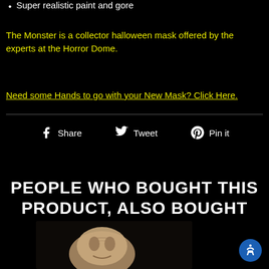Super realistic paint and gore
The Monster is a collector halloween mask offered by the experts at the Horror Dome.
Need some Hands to go with your New Mask? Click Here.
[Figure (infographic): Social sharing buttons: Facebook Share, Twitter Tweet, Pinterest Pin it]
PEOPLE WHO BOUGHT THIS PRODUCT, ALSO BOUGHT
[Figure (photo): Partial view of a realistic monster/creature mask with tan/beige coloring against black background]